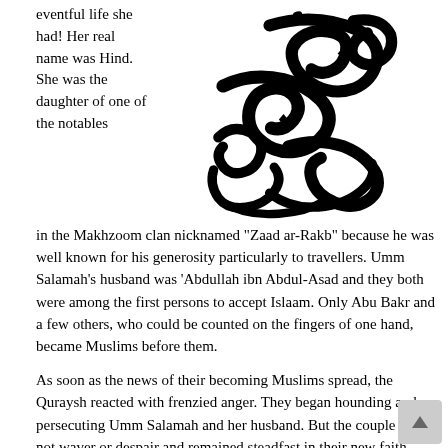eventful life she had! Her real name was Hind. She was the daughter of one of the notables
[Figure (illustration): Arabic calligraphy in black ink, large decorative script]
in the Makhzoom clan nicknamed "Zaad ar-Rakb" because he was well known for his generosity particularly to travellers. Umm Salamah's husband was 'Abdullah ibn Abdul-Asad and they both were among the first persons to accept Islaam. Only Abu Bakr and a few others, who could be counted on the fingers of one hand, became Muslims before them.
As soon as the news of their becoming Muslims spread, the Quraysh reacted with frenzied anger. They began hounding and persecuting Umm Salamah and her husband. But the couple did not waver or despair and remained steadfast in their new faith.
The persecution became more and more intense. Life in Makkah became unbearable for many of the new Muslims. The